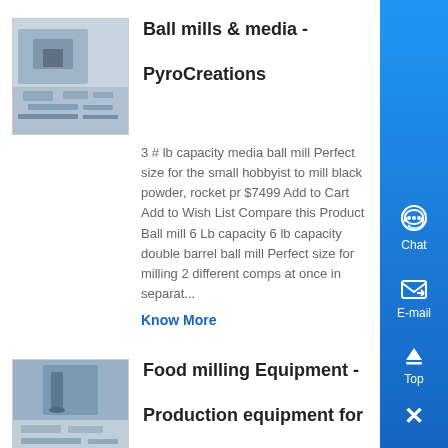[Figure (photo): Thumbnail photo of ball mill equipment in industrial setting]
Ball mills & media - PyroCreations
3 # lb capacity media ball mill Perfect size for the small hobbyist to mill black powder, rocket pr $7499 Add to Cart Add to Wish List Compare this Product Ball mill 6 Lb capacity 6 lb capacity double barrel ball mill Perfect size for milling 2 different comps at once in separat...
Know More
[Figure (photo): Thumbnail photo of food milling equipment]
Food milling Equipment - Production equipment for food powders
Air classifying mills or jet mills can be suitable for ultra-fine grinding and when you want to mill your foods to sub-micron levels we can help you with ball mill